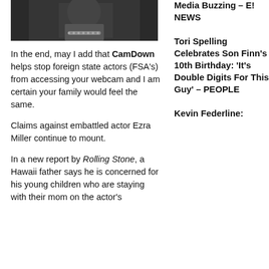[Figure (photo): Partial photo of a person wearing a dark outfit with a decorative necklace, dark background]
In the end, may I add that CamDown helps stop foreign state actors (FSA's) from accessing your webcam and I am certain your family would feel the same.
Claims against embattled actor Ezra Miller continue to mount.
In a new report by Rolling Stone, a Hawaii father says he is concerned for his young children who are staying with their mom on the actor's
Media Buzzing – E! NEWS
Tori Spelling Celebrates Son Finn's 10th Birthday: 'It's Double Digits For This Guy' – PEOPLE
Kevin Federline: